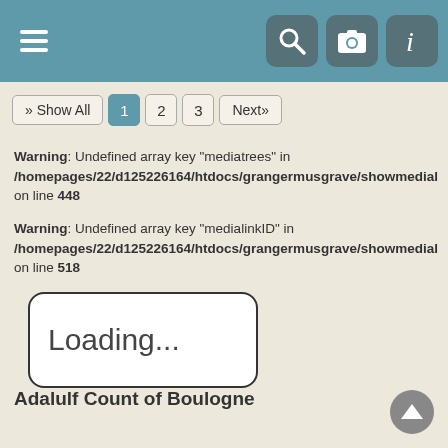Navigation bar with hamburger menu and search, camera, info icons
» Show All  1  2  3  Next»
Warning: Undefined array key "mediatrees" in /homepages/22/d125226164/htdocs/grangermusgrave/showmedial on line 448
Warning: Undefined array key "medialinkID" in /homepages/22/d125226164/htdocs/grangermusgrave/showmedial on line 518
[Figure (screenshot): Loading... box with rounded border]
Adalulf Count of Boulogne